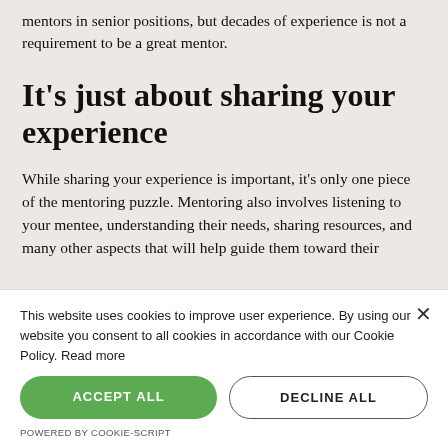mentors in senior positions, but decades of experience is not a requirement to be a great mentor.
It’s just about sharing your experience
While sharing your experience is important, it’s only one piece of the mentoring puzzle. Mentoring also involves listening to your mentee, understanding their needs, sharing resources, and many other aspects that will help guide them toward their
This website uses cookies to improve user experience. By using our website you consent to all cookies in accordance with our Cookie Policy. Read more
ACCEPT ALL
DECLINE ALL
POWERED BY COOKIE-SCRIPT